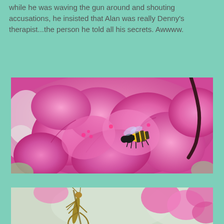while he was waving the gun around and shouting accusations, he insisted that Alan was really Denny's therapist...the person he told all his secrets. Awwww.
[Figure (photo): Close-up photograph of bright pink azalea flowers in full bloom with a bumblebee visible on one of the blossoms. There is also a dark brown branch visible in the upper right. The background is soft and blurred.]
[Figure (photo): Partial photograph at bottom of page showing pink azalea flowers and what appears to be a grasshopper or praying mantis on a branch, with blurred green and pink background.]